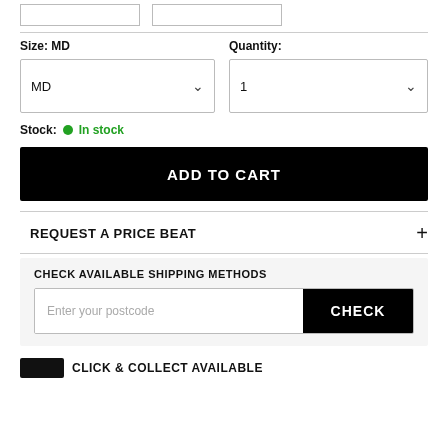Size: MD
Quantity:
MD
1
Stock: In stock
ADD TO CART
REQUEST A PRICE BEAT
CHECK AVAILABLE SHIPPING METHODS
Enter your postcode
CHECK
CLICK & COLLECT AVAILABLE